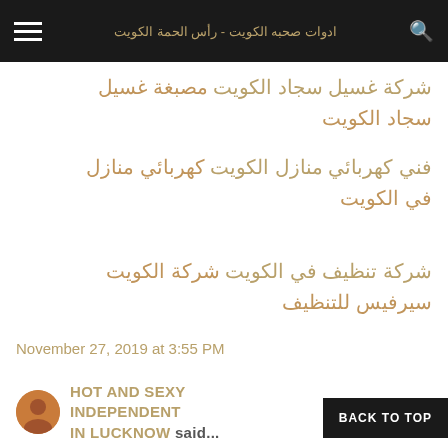ادوات صحبه الكويت - رأس الحمة الكويت
شركة غسيل سجاد الكويت مصبغة غسيل سجاد الكويت
فني كهربائي منازل الكويت كهربائي منازل في الكويت
شركة تنظيف في الكويت شركة الكويت سيرفيس للتنظيف
November 27, 2019 at 3:55 PM
HOT AND SEXY INDEPENDENT IN LUCKNOW said...